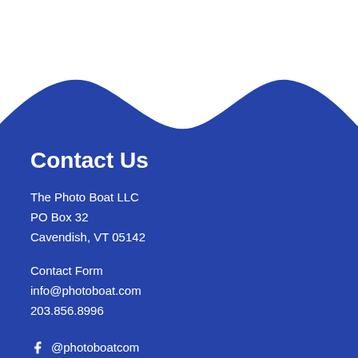[Figure (illustration): Blue wave shape forming a decorative background that covers the lower two-thirds of the page, with a white background above.]
Contact Us
The Photo Boat LLC
PO Box 32
Cavendish, VT 05142
Contact Form
info@photoboat.com
203.856.8996
f @photoboatcom
t @photoboatcom
@ @photoboatcom